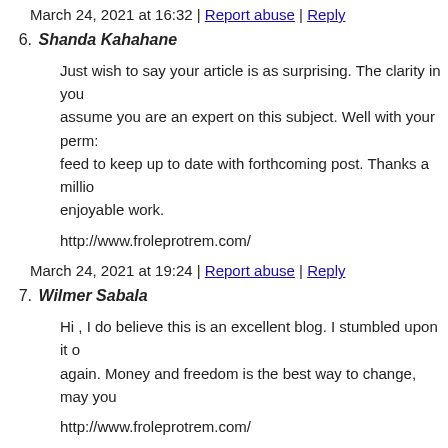March 24, 2021 at 16:32 | Report abuse | Reply
6. Shanda Kahahane
Just wish to say your article is as surprising. The clarity in you assume you are an expert on this subject. Well with your perm feed to keep up to date with forthcoming post. Thanks a millio enjoyable work.
http://www.froleprotrem.com/
March 24, 2021 at 19:24 | Report abuse | Reply
7. Wilmer Sabala
Hi , I do believe this is an excellent blog. I stumbled upon it o again. Money and freedom is the best way to change, may you
http://www.froleprotrem.com/
March 24, 2021 at 19:33 | Report abuse | Reply
8. Suzan Huyna
I'd incessantly want to be update on new posts on this site, save
http://www.froleprotrem.com/
March 24, 2021 at 22:30 | Report abuse | Reply